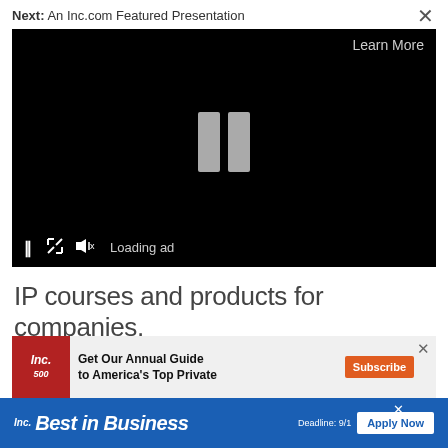Next: An Inc.com Featured Presentation
[Figure (screenshot): Video player with black background showing pause icon in center, 'Learn More' text top right, and video controls bar at bottom showing pause button, expand arrows, mute icon, and 'Loading ad' text]
IP courses and products for companies.
[Figure (screenshot): Advertisement banner for Inc. Annual Guide to America's Top Private companies with Subscribe button and close X]
[Figure (screenshot): Inc. Best in Business blue banner ad with Apply Now button and Deadline: 9/1 text]